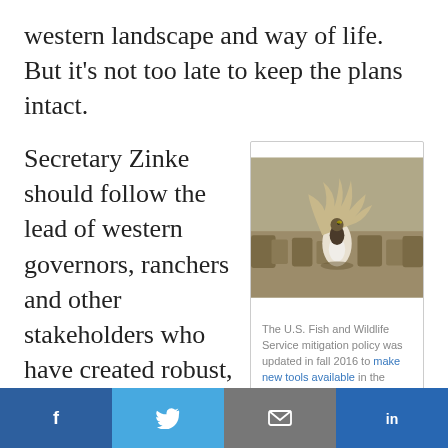western landscape and way of life. But it's not too late to keep the plans intact.
Secretary Zinke should follow the lead of western governors, ranchers and other stakeholders who have created robust, science-based, and consistent plans to keep the bird off the Endangered Species...
[Figure (photo): A sage-grouse bird displaying its plumage in a dry sagebrush landscape]
The U.S. Fish and Wildlife Service mitigation policy was updated in fall 2016 to make new tools available in the conservation toolbox, including market-based approaches that increase flexibility, efficiency and effectiveness.
f  [Twitter bird]  [Email]  in